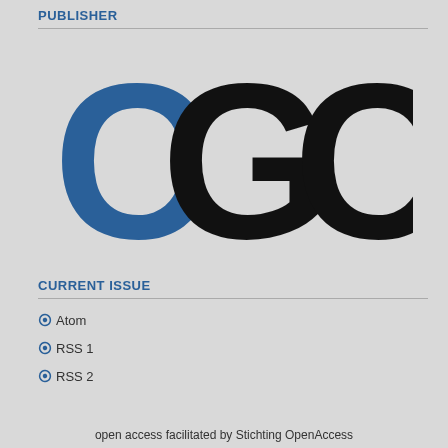PUBLISHER
[Figure (logo): CGC logo with blue C, black G, and black C letters arranged horizontally in large bold sans-serif font]
CURRENT ISSUE
Atom
RSS 1
RSS 2
open access facilitated by Stichting OpenAccess